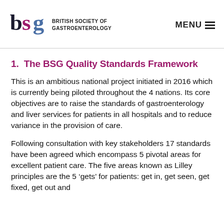BSG - British Society of Gastroenterology | MENU
1.  The BSG Quality Standards Framework
This is an ambitious national project initiated in 2016 which is currently being piloted throughout the 4 nations. Its core objectives are to raise the standards of gastroenterology and liver services for patients in all hospitals and to reduce variance in the provision of care.
Following consultation with key stakeholders 17 standards have been agreed which encompass 5 pivotal areas for excellent patient care. The five areas known as Lilley principles are the 5 ‘gets’ for patients: get in, get seen, get fixed, get out and